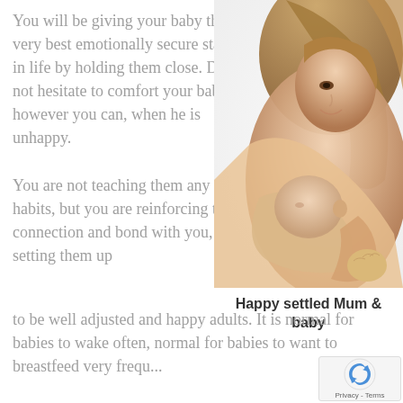You will be giving your baby the very best emotionally secure start in life by holding them close. Do not hesitate to comfort your baby, however you can, when he is unhappy. You are not teaching them any bad habits, but you are reinforcing their connection and bond with you, setting them up to be well adjusted and happy adults. It is normal for babies to wake often, normal for babies to want to breastfeed very frequ...
[Figure (photo): A mother holding and breastfeeding a newborn baby, photographed on a white background. The mother is smiling and looking down at the baby.]
Happy settled Mum & baby